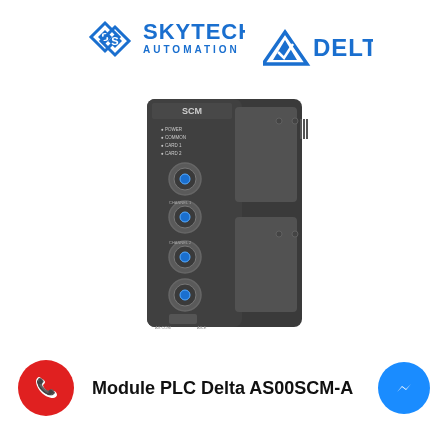[Figure (logo): SkyTech Automation logo with blue diamond shapes and text SKYTECH AUTOMATION]
[Figure (logo): Delta Electronics logo - blue triangle with Delta text]
[Figure (photo): Delta AS00SCM-A PLC communication module - dark grey device with SCM label, 4 rotary switches, LED indicators, and two connector slots]
[Figure (logo): Red circle with white phone/WhatsApp handset icon]
Module PLC Delta AS00SCM-A
[Figure (logo): Blue circle with white Facebook Messenger lightning bolt icon]